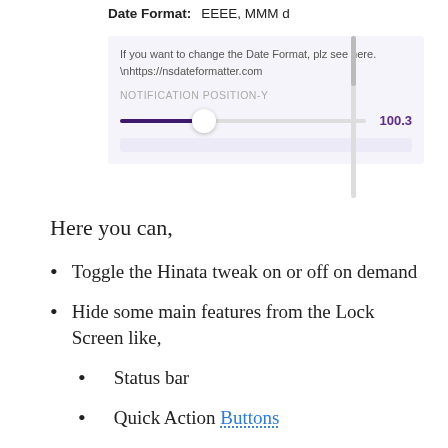[Figure (screenshot): App settings UI panel showing Date Format field set to 'EEEE, MMM d', a help text box with link to nsdateformatter.com, a NOTIFICATION POSITION-Y label, and a purple slider set to 100.3, with a scrollbar on the right.]
Here you can,
Toggle the Hinata tweak on or off on demand
Hide some main features from the Lock Screen like,
Status bar
Quick Action Buttons